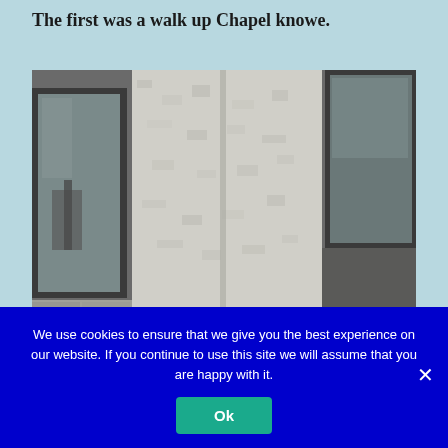The first was a walk up Chapel knowe.
[Figure (photo): Close-up photograph of a white roughcast/pebbledash stone wall exterior with two dark-framed windows visible on the left and right sides.]
We use cookies to ensure that we give you the best experience on our website. If you continue to use this site we will assume that you are happy with it.